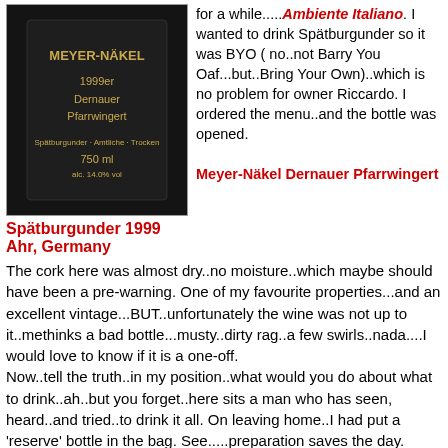[Figure (photo): Dark bottle of Meyer-Näkel 1999er Dernauer Pfarrwingert wine, label visible]
for a while.....Ambiente Italiano. I wanted to drink Spätburgunder so it was BYO ( no..not Barry You Oaf...but..Bring Your Own)..which is no problem for owner Riccardo. I ordered the menu..and the bottle was opened.
Meyer-Näkel Dernauer Pfarrwingert
Spätburgunder 1999 Ahr, Germany
The cork here was almost dry..no moisture..which maybe should have been a pre-warning. One of my favourite properties...and an excellent vintage...BUT..unfortunately the wine was not up to it..methinks a bad bottle...musty..dirty rag..a few swirls..nada....I would love to know if it is a one-off.
Now..tell the truth..in my position..what would you do about what to drink..ah..but you forget..here sits a man who has seen, heard..and tried..to drink it all. On leaving home..I had put a 'reserve' bottle in the bag. See.....preparation saves the day.
[Figure (photo): Dark bottle photo, dimly lit]
[Figure (photo): Dark bottle photo, dimly lit second image]
Köhler-Ruprecht 'Philippi'